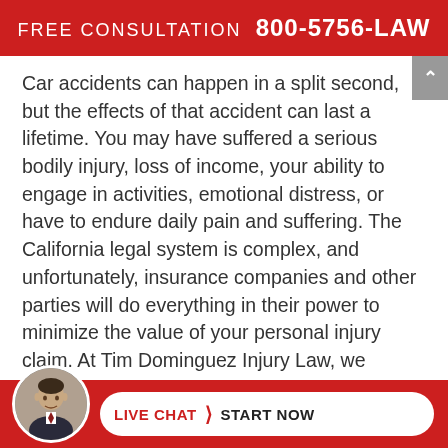FREE CONSULTATION 800-5756-LAW
Car accidents can happen in a split second, but the effects of that accident can last a lifetime. You may have suffered a serious bodily injury, loss of income, your ability to engage in activities, emotional distress, or have to endure daily pain and suffering. The California legal system is complex, and unfortunately, insurance companies and other parties will do everything in their power to minimize the value of your personal injury claim. At Tim Dominguez Injury Law, we understand the legal complexities and potential factors that influence the value of your case and settlement. If necessary, our firm is willing and able to take your case to trial, and hold those responsible for your accident accountable. Our Irvine car accident lawyer, Tim Dominguez, protects the rights of inju
[Figure (photo): Circular avatar photo of Tim Dominguez, a man in a suit and tie]
LIVE CHAT › START NOW